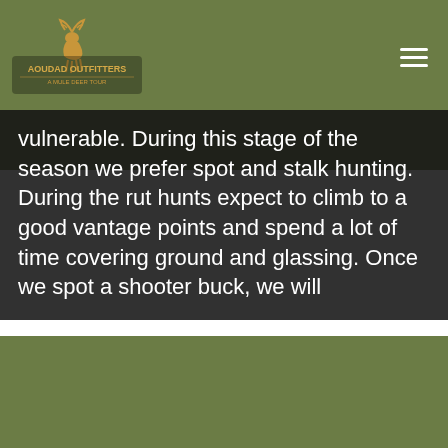Aoudad Outfitters
produce daylight deer. During the rut as the bucks emerge from the thick brush and start searching for does, they become more vulnerable. During this stage of the season we prefer spot and stalk hunting. During the rut hunts expect to climb to a good vantage points and spend a lot of time covering ground and glassing. Once we spot a shooter buck, we will
This website uses cookies.
We use cookies to analyze website traffic and optimize your website experience. By accepting our use of cookies, your data will be aggregated with all other user data.
DECLINE
ACCEPT